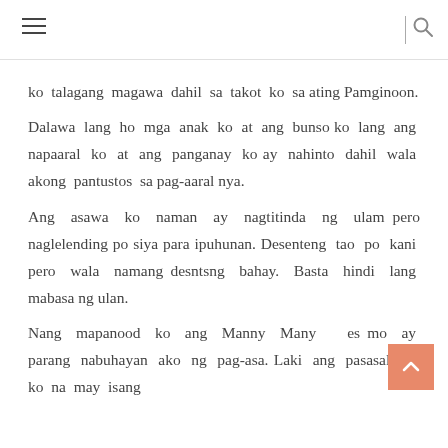ko talagang magawa dahil sa takot ko sa ating Pamginoon.
Dalawa lang ho mga anak ko at ang bunso ko lang ang napaaral ko at ang panganay ko ay nahinto dahil wala akong pantustos sa pag-aaral nya.
Ang asawa ko naman ay nagtitinda ng ulam pero naglelending po siya para ipuhunan. Desenteng tao po kani pero wala namang desntsng bahay. Basta hindi lang mabasa ng ulan.
Nang mapanood ko ang Manny Manny es mo ay parang nabuhayan ako ng pag-asa. Laki ang pasasalanat ko na may isang